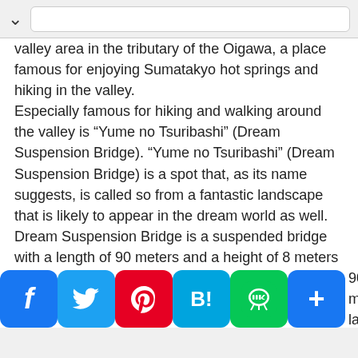valley area in the tributary of the Oigawa, a place famous for enjoying Sumatakyo hot springs and hiking in the valley. Especially famous for hiking and walking around the valley is “Yume no Tsuribashi” (Dream Suspension Bridge). “Yume no Tsuribashi” (Dream Suspension Bridge) is a spot that, as its name suggests, is called so from a fantastic landscape that is likely to appear in the dream world as well. Dream Suspension Bridge is a suspended bridge with a length of 90 meters and a height of 8 meters for cobalt blue Oma Dam Lake. This suspension bridge is the biggest spot of “Sumatakyo Gorge Promenade Course” which ... 90 minutes lap.
[Figure (screenshot): Social sharing bar with Facebook, Twitter, Pinterest, Hatena Bookmark, LINE, and Plus icons]